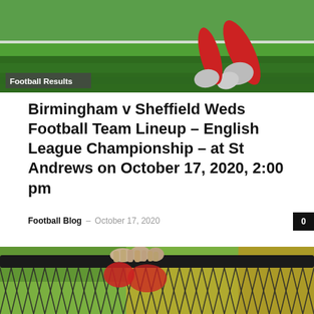[Figure (photo): Sports photo showing a football player's arm/glove near a goal or pitch, with green grass background. Overlaid badge reads 'Football Results'.]
Birmingham v Sheffield Weds Football Team Lineup – English League Championship – at St Andrews on October 17, 2020, 2:00 pm
Football Blog – October 17, 2020
[Figure (photo): Close-up photo of hands gripping a chain-link fence with a blurred football pitch background showing yellow and dark tones.]